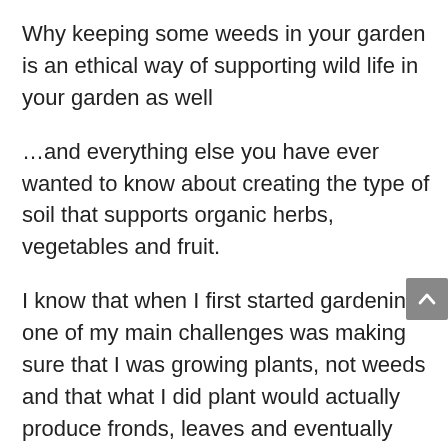Why keeping some weeds in your garden is an ethical way of supporting wild life in your garden as well
…and everything else you have ever wanted to know about creating the type of soil that supports organic herbs, vegetables and fruit.
I know that when I first started gardening one of my main challenges was making sure that I was growing plants, not weeds and that what I did plant would actually produce fronds, leaves and eventually produce!
I recognize that not everybody who reads The Easy